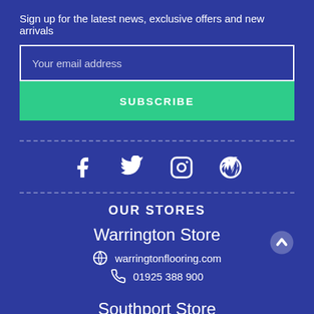Sign up for the latest news, exclusive offers and new arrivals
Your email address
SUBSCRIBE
[Figure (infographic): Social media icons row: Facebook, Twitter, Instagram, WordPress]
OUR STORES
Warrington Store
warringtonflooring.com
01925 388 900
Southport Store